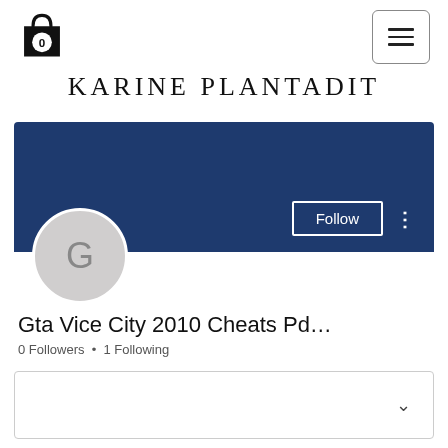[Figure (screenshot): Shopping bag icon with '0' label in top left corner]
[Figure (screenshot): Hamburger menu button (three horizontal lines) in top right corner]
KARINE PLANTADIT
[Figure (screenshot): User profile card with dark blue banner, avatar circle with letter G, Follow button, and three-dots menu]
Gta Vice City 2010 Cheats Pd…
0 Followers • 1 Following
[Figure (screenshot): Dropdown box with chevron/down arrow on the right side]